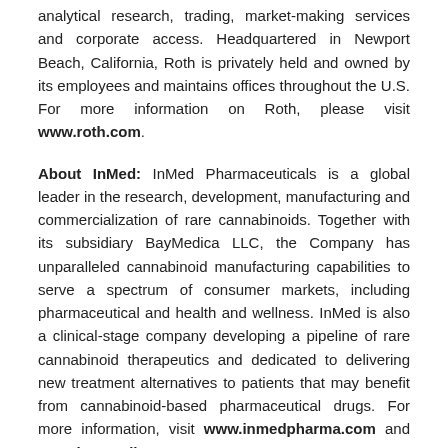analytical research, trading, market-making services and corporate access. Headquartered in Newport Beach, California, Roth is privately held and owned by its employees and maintains offices throughout the U.S. For more information on Roth, please visit www.roth.com.
About InMed: InMed Pharmaceuticals is a global leader in the research, development, manufacturing and commercialization of rare cannabinoids. Together with its subsidiary BayMedica LLC, the Company has unparalleled cannabinoid manufacturing capabilities to serve a spectrum of consumer markets, including pharmaceutical and health and wellness. InMed is also a clinical-stage company developing a pipeline of rare cannabinoid therapeutics and dedicated to delivering new treatment alternatives to patients that may benefit from cannabinoid-based pharmaceutical drugs. For more information, visit www.inmedpharma.com and www.baymedica.com.